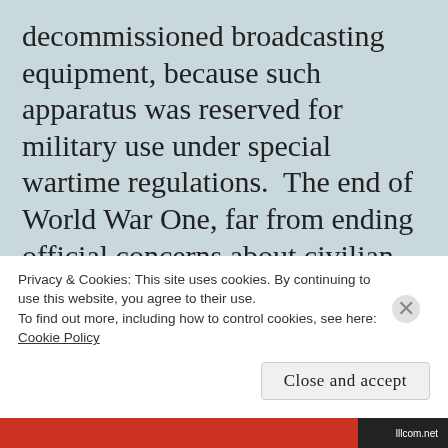decommissioned broadcasting equipment, because such apparatus was reserved for military use under special wartime regulations.  The end of World War One, far from ending official concerns about civilian possession of radio equipment in Ireland, only increased it as the country moved into the War of Independence and then the Civil War, although it seems inevitable that there were in fact many sets constructed from the fairly easily-available parts by the technology
Privacy & Cookies: This site uses cookies. By continuing to use this website, you agree to their use.
To find out more, including how to control cookies, see here:
Cookie Policy

Close and accept